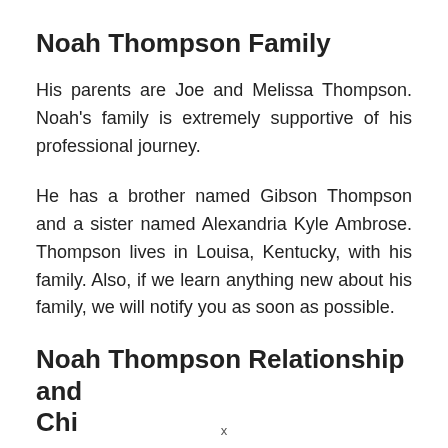Noah Thompson Family
His parents are Joe and Melissa Thompson. Noah's family is extremely supportive of his professional journey.
He has a brother named Gibson Thompson and a sister named Alexandria Kyle Ambrose. Thompson lives in Louisa, Kentucky, with his family. Also, if we learn anything new about his family, we will notify you as soon as possible.
Noah Thompson Relationship and Chi...